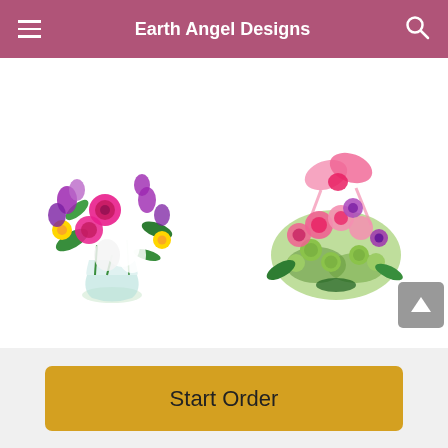Earth Angel Designs
[Figure (photo): Colorful floral bouquet with pink roses, purple orchids, white lilies and yellow flowers in a glass vase - Special Day Bouquet]
Special Day Bouquet
From C$60.95
[Figure (photo): Springtime mix cut flowers arrangement with pink carnations, purple daisies, green button mums wrapped in green leaves with pink ribbon]
Springtime Mix Cut Flowers
From C$55.95
Start Order